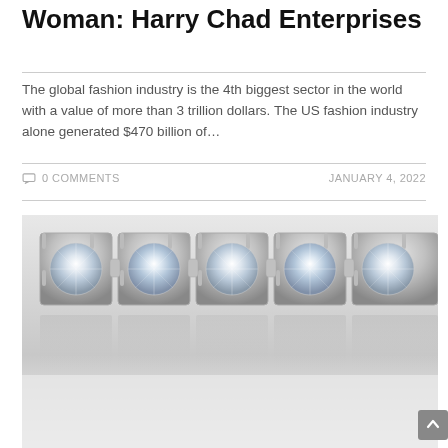Woman: Harry Chad Enterprises
The global fashion industry is the 4th biggest sector in the world with a value of more than 3 trillion dollars. The US fashion industry alone generated $470 billion of…
0 COMMENTS   JANUARY 4, 2022
[Figure (photo): Close-up photograph of a diamond tennis bracelet showing multiple round brilliant-cut diamonds set in white metal prong settings, with reflections visible below the bracelet.]